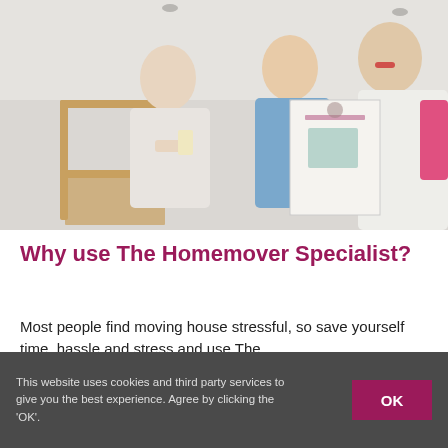[Figure (photo): Three women looking at a brochure together in a room with a wooden chair and light grey walls. One woman on the left wears a white patterned top, the middle woman wears a blue shirt and smiles, and the woman on the right wears a white top and pink sleeve.]
Why use The Homemover Specialist?
Most people find moving house stressful, so save yourself time, hassle and stress and use The
This website uses cookies and third party services to give you the best experience. Agree by clicking the 'OK'.